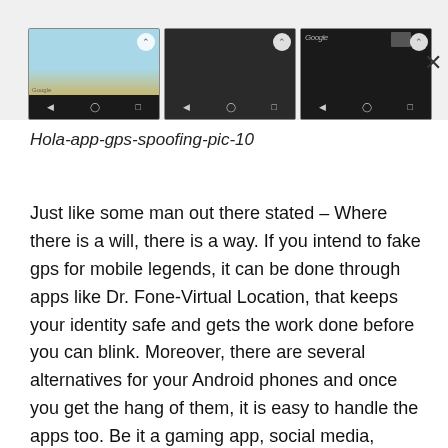[Figure (screenshot): Three Android phone screenshots showing map/navigation apps with dark navigation bars, displayed side by side with a close (X) button on the right]
Hola-app-gps-spoofing-pic-10
Just like some man out there stated – Where there is a will, there is a way. If you intend to fake gps for mobile legends, it can be done through apps like Dr. Fone-Virtual Location, that keeps your identity safe and gets the work done before you can blink. Moreover, there are several alternatives for your Android phones and once you get the hang of them, it is easy to handle the apps too. Be it a gaming app, social media, dating apps